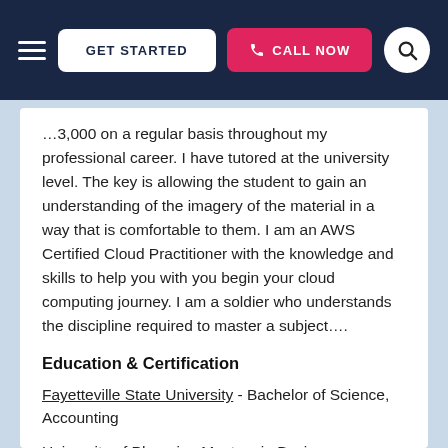GET STARTED | CALL NOW | Search
…3,000 on a regular basis throughout my professional career. I have tutored at the university level. The key is allowing the student to gain an understanding of the imagery of the material in a way that is comfortable to them. I am an AWS Certified Cloud Practitioner with the knowledge and skills to help you with you begin your cloud computing journey. I am a soldier who understands the discipline required to master a subject….
Education & Certification
Fayetteville State University - Bachelor of Science, Accounting
University of Phoenix - Masters in Business